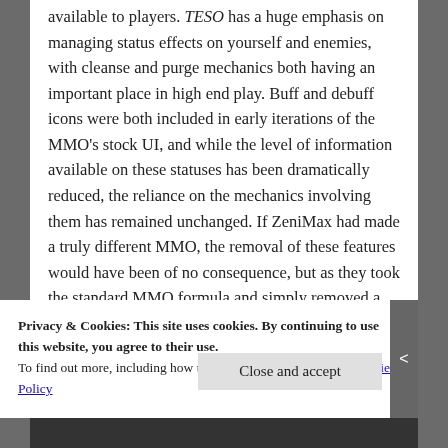available to players. TESO has a huge emphasis on managing status effects on yourself and enemies, with cleanse and purge mechanics both having an important place in high end play. Buff and debuff icons were both included in early iterations of the MMO's stock UI, and while the level of information available on these statuses has been dramatically reduced, the reliance on the mechanics involving them has remained unchanged. If ZeniMax had made a truly different MMO, the removal of these features would have been of no consequence, but as they took the standard MMO formula and simply removed a lot of the tools that make it usable, the enjoyability and competitiveness of the
Privacy & Cookies: This site uses cookies. By continuing to use this website, you agree to their use.
To find out more, including how to control cookies, see here: Cookie Policy
Close and accept